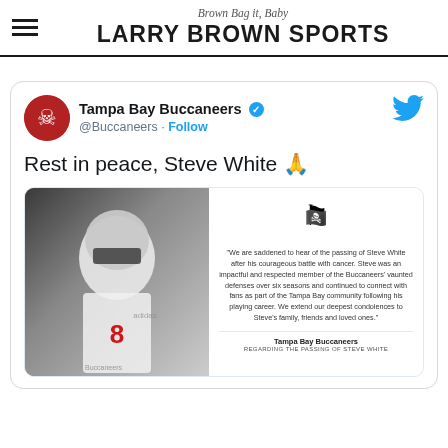Brown Bag it, Baby — LARRY BROWN SPORTS
[Figure (screenshot): Embedded tweet from Tampa Bay Buccaneers (@Buccaneers) with verified badge and Follow button. Tweet text: 'Rest in peace, Steve White 🙏'. Contains an inner card with a photo of Steve White in Buccaneers uniform and a statement card with Buccaneers logo and quote about his passing.]
"We are saddened to hear of the passing of Steve White after his courageous battle with cancer. Steve was an impactful and respected member of the Buccaneers' vaunted defenses over six seasons and continued to connect with fans as part of the Tampa Bay community following his playing career. We extend our deepest condolences to Steve's family, friends and loved ones."
Tampa Bay Buccaneers
REGARDING THE PASSING OF STEVE WHITE